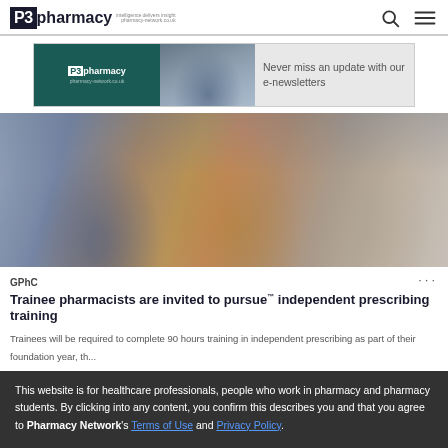P3pharmacy logo with search and menu icons
[Figure (screenshot): P3pharmacy promotional banner ad: Never miss an update with our e-newsletters]
[Figure (photo): Group of people sitting in a classroom or training session, writing notes]
GPhC
Trainees pharmacists are invited to pursue prescribing training™
Trainees will be required to complete 90 hours training in independent prescribing as part of their foundation year, th...
This website is for healthcare professionals, people who work in pharmacy and pharmacy students. By clicking into any content, you confirm this describes you and that you agree to Pharmacy Network's Terms of Use and Privacy Policy.